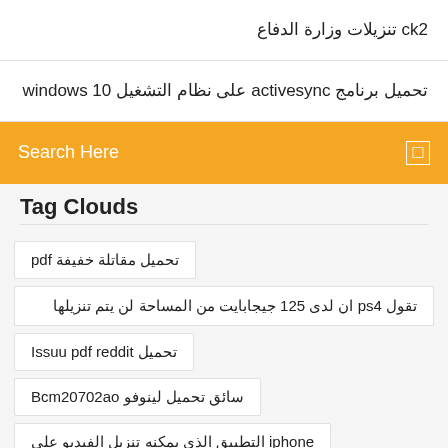ck2 تنزيلات وزارة الدفاع
تحميل برنامج activesync على نظام التشغيل windows 10
Search Here
Tag Clouds
تحميل مقاتلة خفيفة pdf
تقول ps4 ان لدى 125 جيجابايت من المساحة لن يتم تنزيلها
تحميل Issuu pdf reddit
سائق تحميل لينوفو Bcm20702ao
iphone التطبيق الذي يمكنه تنزيل الفيديو على